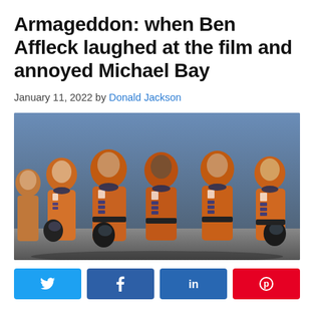Armageddon: when Ben Affleck laughed at the film and annoyed Michael Bay
January 11, 2022 by Donald Jackson
[Figure (photo): Cast of Armageddon movie in orange spacesuits walking together, holding black helmets]
[Figure (infographic): Social sharing buttons: Twitter (blue), Facebook (dark blue), LinkedIn (blue), Pinterest (red)]